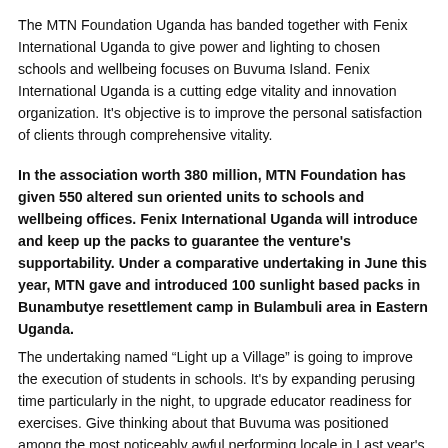The MTN Foundation Uganda has banded together with Fenix International Uganda to give power and lighting to chosen schools and wellbeing focuses on Buvuma Island. Fenix International Uganda is a cutting edge vitality and innovation organization. It's objective is to improve the personal satisfaction of clients through comprehensive vitality.
In the association worth 380 million, MTN Foundation has given 550 altered sun oriented units to schools and wellbeing offices. Fenix International Uganda will introduce and keep up the packs to guarantee the venture's supportability. Under a comparative undertaking in June this year, MTN gave and introduced 100 sunlight based packs in Bunambutye resettlement camp in Bulambuli area in Eastern Uganda.
The undertaking named “Light up a Village” is going to improve the execution of students in schools. It's by expanding perusing time particularly in the night, to upgrade educator readiness for exercises. Give thinking about that Buvuma was positioned among the most noticeably awful performing locale in Last year's Primary Leaving assessments. The region additionally